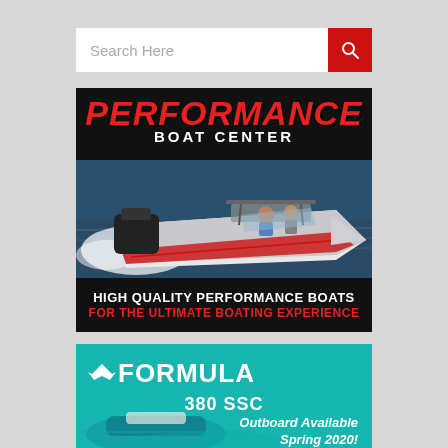Search Here
[Figure (screenshot): Performance Boat Center advertisement: red and black banner with 'PERFORMANCE BOAT CENTER' logo, photo of a high-speed boat on water with people aboard, text 'HIGH QUALITY PERFORMANCE BOATS FOR THE ULTIMATE BOATING EXPERIENCE']
[Figure (screenshot): Formula boats advertisement on teal background: Formula eagle logo and name, '380 SSC Outboard Available Spring 2020!' text, partial aerial view of boat on water]